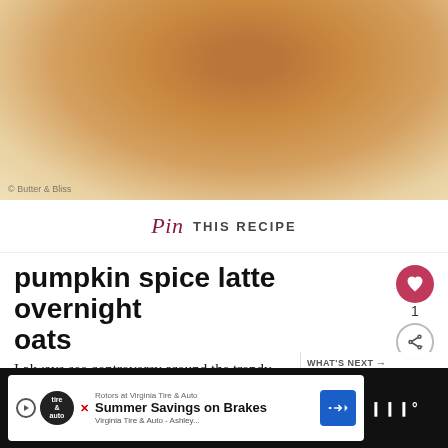[Figure (photo): Close-up photo of a golden-brown pastry (croissant or bun) on a light background, partially visible at top of page]
© Butter & Bliss
Pin THIS RECIPE
pumpkin spice latte overnight oats
1
I always see controversy around the trendy pumpkin spice latte.  Some people don't like it, other's like it but think it arrives on scene way too early, and then the people who drink it all year round.  Funny thing is I always see some of those nay-sayers with a PSL in their hand at so
WHAT'S NEXT → Caramel Banana...
Rotors at Virginia Tire & Auto  Summer Savings on Brakes  Virginia Tire & Auto - Ashley...